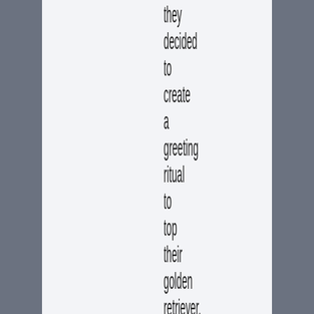they decided to create a greeting ritual to top their golden retriever. Top the dog, they decided. After all, they were not married to the dog. So now what they